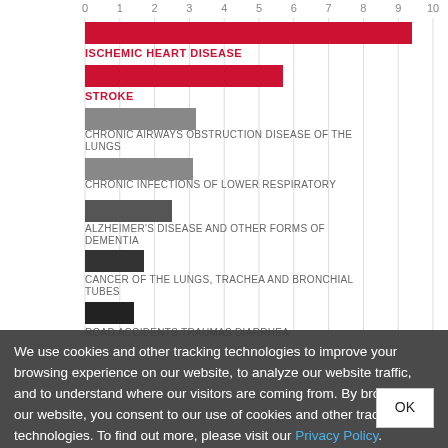[Figure (bar-chart): Top causes of death (millions)]
We use cookies and other tracking technologies to improve your browsing experience on our website, to analyze our website traffic, and to understand where our visitors are coming from. By browsing our website, you consent to our use of cookies and other tracking technologies. To find out more, please visit our Privacy Policy.